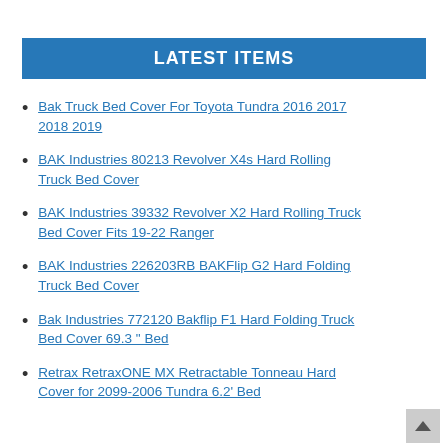LATEST ITEMS
Bak Truck Bed Cover For Toyota Tundra 2016 2017 2018 2019
BAK Industries 80213 Revolver X4s Hard Rolling Truck Bed Cover
BAK Industries 39332 Revolver X2 Hard Rolling Truck Bed Cover Fits 19-22 Ranger
BAK Industries 226203RB BAKFlip G2 Hard Folding Truck Bed Cover
Bak Industries 772120 Bakflip F1 Hard Folding Truck Bed Cover 69.3 " Bed
Retrax RetraxONE MX Retractable Tonneau Hard Cover for 2099-2006 Tundra 6.2' Bed